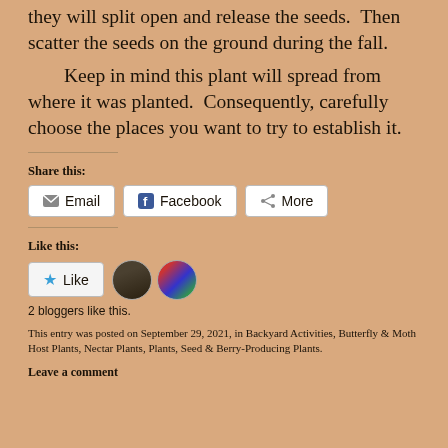they will split open and release the seeds. Then scatter the seeds on the ground during the fall.
Keep in mind this plant will spread from where it was planted. Consequently, carefully choose the places you want to try to establish it.
Share this:
Email | Facebook | More
Like this:
Like | 2 bloggers like this.
This entry was posted on September 29, 2021, in Backyard Activities, Butterfly & Moth Host Plants, Nectar Plants, Plants, Seed & Berry-Producing Plants.
Leave a comment